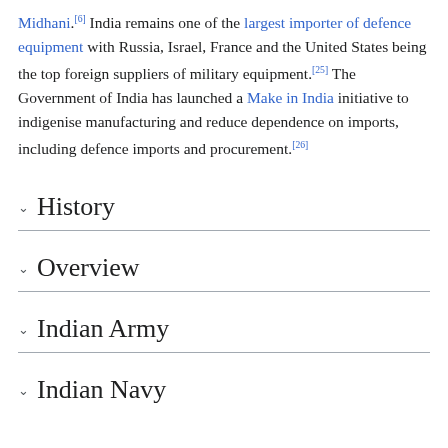Midhani.[6] India remains one of the largest importer of defence equipment with Russia, Israel, France and the United States being the top foreign suppliers of military equipment.[25] The Government of India has launched a Make in India initiative to indigenise manufacturing and reduce dependence on imports, including defence imports and procurement.[26]
History
Overview
Indian Army
Indian Navy